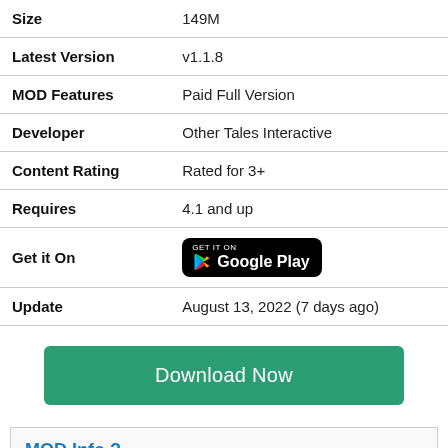| Field | Value |
| --- | --- |
| Size | 149M |
| Latest Version | v1.1.8 |
| MOD Features | Paid Full Version |
| Developer | Other Tales Interactive |
| Content Rating | Rated for 3+ |
| Requires | 4.1 and up |
| Get it On | [Google Play badge] |
| Update | August 13, 2022 (7 days ago) |
Download Now
MOD Info ?